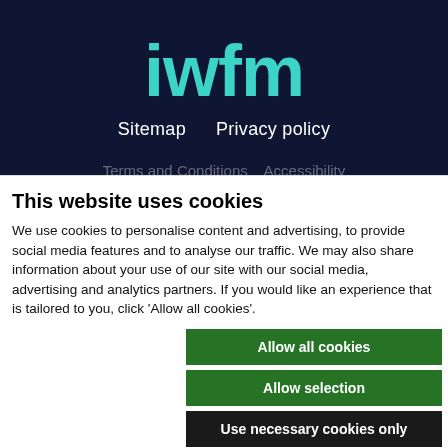[Figure (logo): IWFM logo in teal/turquoise color on dark navy background]
Sitemap   Privacy policy
This website uses cookies
We use cookies to personalise content and advertising, to provide social media features and to analyse our traffic. We may also share information about your use of our site with our social media, advertising and analytics partners. If you would like an experience that is tailored to you, click 'Allow all cookies'.
Allow all cookies
Allow selection
Use necessary cookies only
✓ Necessary   ☐ Preferences   ☐ Statistics   ☐ Marketing   Show details ▾